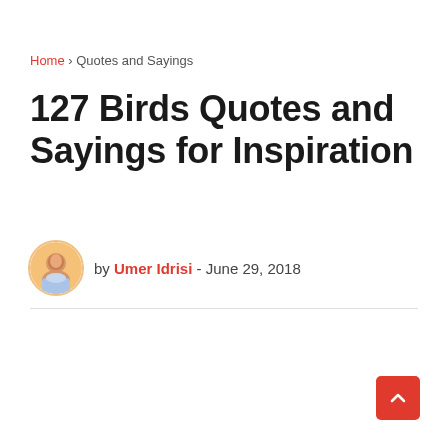Home › Quotes and Sayings
127 Birds Quotes and Sayings for Inspiration
by Umer Idrisi - June 29, 2018